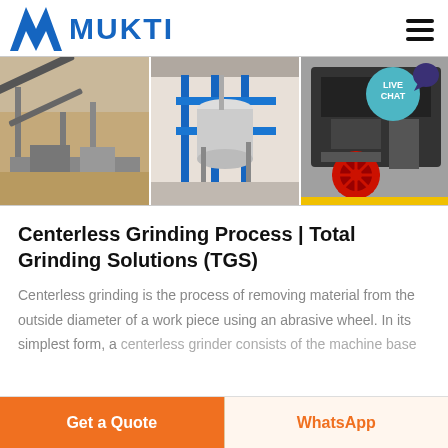MUKTI
[Figure (photo): Three industrial/mining equipment photos side by side: left shows outdoor conveyor/crusher equipment in desert setting, center shows indoor industrial processing equipment with blue framework and tanks, right shows large black industrial machinery with red wheel]
Centerless Grinding Process | Total Grinding Solutions (TGS)
Centerless grinding is the process of removing material from the outside diameter of a work piece using an abrasive wheel. In its simplest form, a centerless grinder consists of the machine base
Get a Quote
WhatsApp